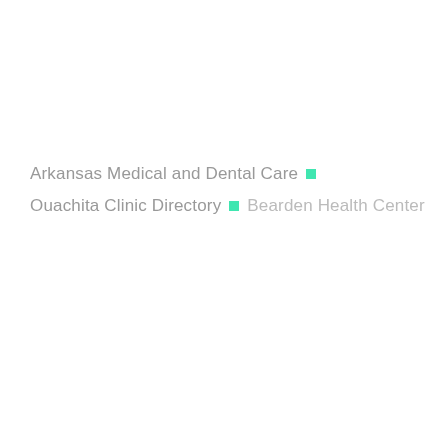Arkansas Medical and Dental Care ■
Ouachita Clinic Directory ■ Bearden Health Center